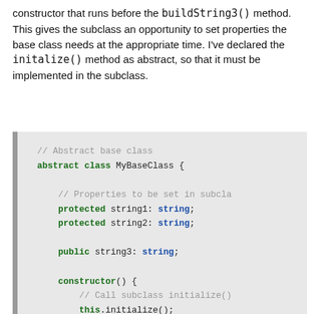constructor that runs before the buildString3() method. This gives the subclass an opportunity to set properties the base class needs at the appropriate time. I've declared the initalize() method as abstract, so that it must be implemented in the subclass.
[Figure (screenshot): Code block showing an abstract TypeScript/JavaScript class named MyBaseClass with protected string1, string2, public string3 properties, and a constructor that calls this.initialize() and this.string3 = this.buildStri...]